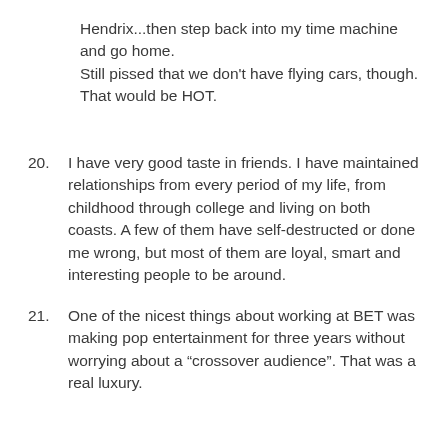Hendrix...then step back into my time machine and go home.
Still pissed that we don't have flying cars, though. That would be HOT.
20. I have very good taste in friends. I have maintained relationships from every period of my life, from childhood through college and living on both coasts. A few of them have self-destructed or done me wrong, but most of them are loyal, smart and interesting people to be around.
21. One of the nicest things about working at BET was making pop entertainment for three years without worrying about a “crossover audience”. That was a real luxury.